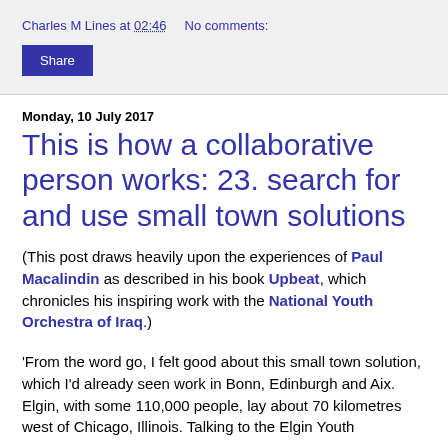Charles M Lines at 02:46    No comments:
Share
Monday, 10 July 2017
This is how a collaborative person works: 23. search for and use small town solutions
(This post draws heavily upon the experiences of Paul Macalindin as described in his book Upbeat, which chronicles his inspiring work with the National Youth Orchestra of Iraq.)
'From the word go, I felt good about this small town solution, which I'd already seen work in Bonn, Edinburgh and Aix. Elgin, with some 110,000 people, lay about 70 kilometres west of Chicago, Illinois. Talking to the Elgin Youth